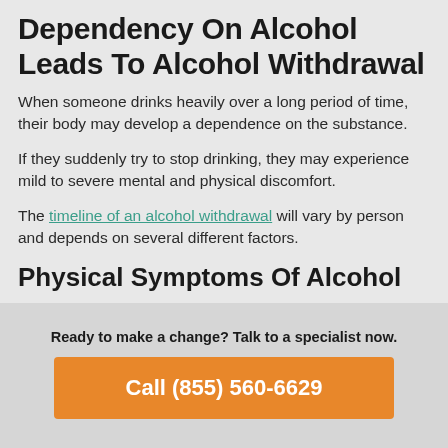Dependency On Alcohol Leads To Alcohol Withdrawal
When someone drinks heavily over a long period of time, their body may develop a dependence on the substance.
If they suddenly try to stop drinking, they may experience mild to severe mental and physical discomfort.
The timeline of an alcohol withdrawal will vary by person and depends on several different factors.
Physical Symptoms Of Alcohol
Ready to make a change? Talk to a specialist now.
Call (855) 560-6629